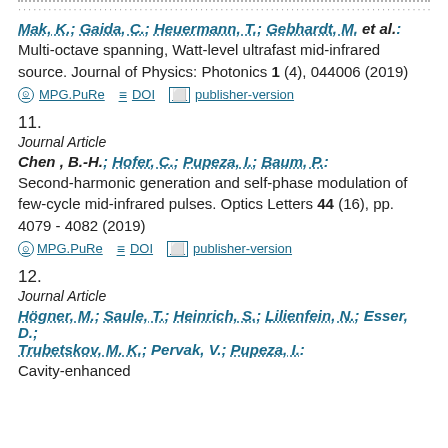……………………………………………………………………………………………………………
Mak, K.; Gaida, C.; Heuermann, T.; Gebhardt, M. et al.: Multi-octave spanning, Watt-level ultrafast mid-infrared source. Journal of Physics: Photonics 1 (4), 044006 (2019). MPG.PuRe  DOI  publisher-version
11. Journal Article. Chen, B.-H.; Hofer, C.; Pupeza, I.; Baum, P.: Second-harmonic generation and self-phase modulation of few-cycle mid-infrared pulses. Optics Letters 44 (16), pp. 4079 - 4082 (2019). MPG.PuRe  DOI  publisher-version
12. Journal Article. Högner, M.; Saule, T.; Heinrich, S.; Lilienfein, N.; Esser, D.; Trubetskov, M. K.; Pervak, V.; Pupeza, I.: Cavity-enhanced